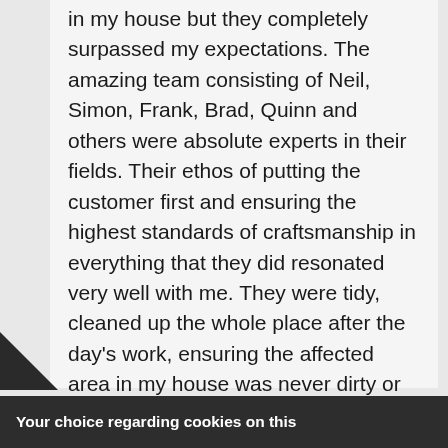in my house but they completely surpassed my expectations. The amazing team consisting of Neil, Simon, Frank, Brad, Quinn and others were absolute experts in their fields. Their ethos of putting the customer first and ensuring the highest standards of craftsmanship in everything that they did resonated very well with me. They were tidy, cleaned up the whole place after the day's work, ensuring the affected area in my house was never dirty or
Your choice regarding cookies on this